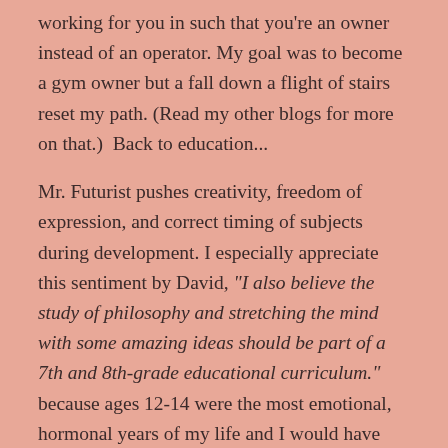working for you in such that you're an owner instead of an operator. My goal was to become a gym owner but a fall down a flight of stairs reset my path. (Read my other blogs for more on that.)  Back to education...
Mr. Futurist pushes creativity, freedom of expression, and correct timing of subjects during development. I especially appreciate this sentiment by David, "I also believe the study of philosophy and stretching the mind with some amazing ideas should be part of a 7th and 8th-grade educational curriculum." because ages 12-14 were the most emotional, hormonal years of my life and I would have appreciated Plato, Nietzsche, and Kant.